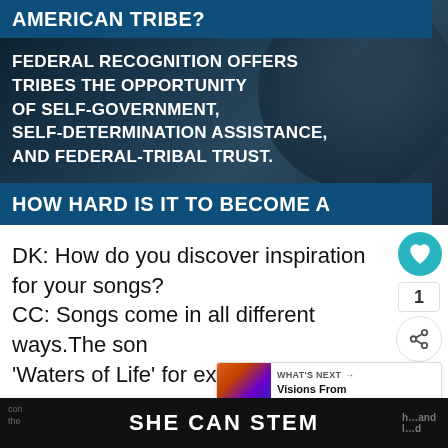[Figure (screenshot): Dark-toned documentary-style image with blue overlay bars. Top blue bar reads 'AMERICAN TRIBE?' in bold white. Body text block reads 'FEDERAL RECOGNITION OFFERS TRIBES THE OPPORTUNITY OF SELF-GOVERNMENT, SELF-DETERMINATION ASSISTANCE, AND FEDERAL-TRIBAL TRUST.' Bottom blue bar reads 'HOW HARD IS IT TO BECOME A']
DK: How do you discover inspiration for your songs?
CC: Songs come in all different ways.The song 'Waters of Life' for example, almost wrote itself. Others are more challenging and take 'simmering' before they're ready. We usually
SHE CAN STEM